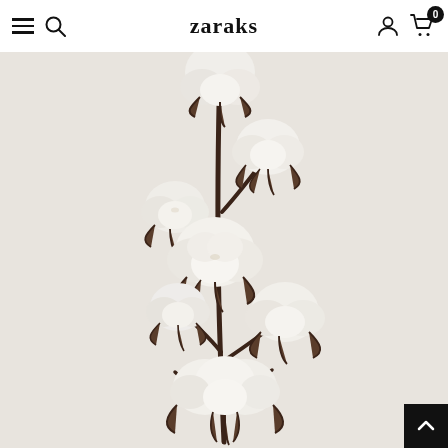zaraks — navigation bar with hamburger menu, search, account, and cart (0 items)
[Figure (photo): Close-up photograph of dried cotton bolls on stems arranged vertically against a light grey/beige background. Multiple white fluffy cotton balls open on dark brown stems, showing natural dried cotton plant botanical arrangement.]